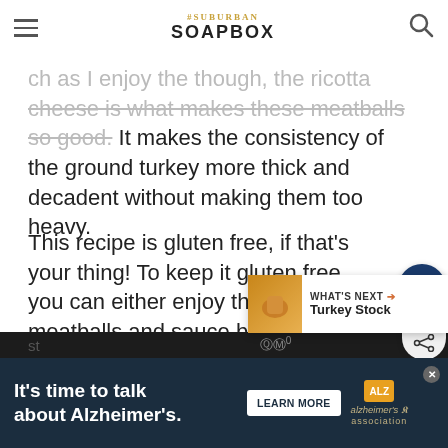THE SUBURBAN SOAPBOX
ch as I enjoy the though, the ricotta cheese is what makes these meatballs so good. It makes the consistency of the ground turkey more thick and decadent without making them too heavy.
This recipe is gluten free, if that’s your thing! To keep it gluten free, you can either enjoy the meatballs and sauce by itself or serve it over ri or a gluten free pasta of your choice. Also, kee in mind that ground turkey is more hea than beef, so these meatballs are a little more health conscious than others. However, they’re st
[Figure (other): WHAT'S NEXT arrow Turkey Stock thumbnail overlay]
It’s time to talk about Alzheimer’s.